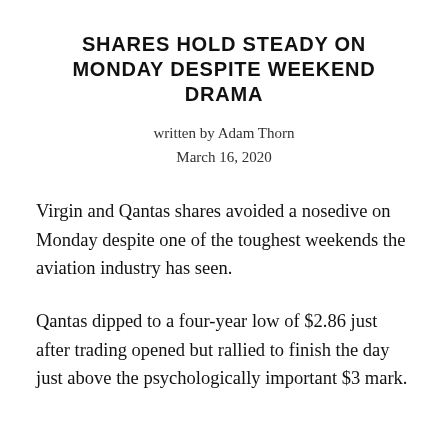SHARES HOLD STEADY ON MONDAY DESPITE WEEKEND DRAMA
written by Adam Thorn
March 16, 2020
Virgin and Qantas shares avoided a nosedive on Monday despite one of the toughest weekends the aviation industry has seen.
Qantas dipped to a four-year low of $2.86 just after trading opened but rallied to finish the day just above the psychologically important $3 mark.